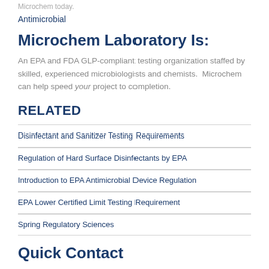Microchem today.
Antimicrobial
Microchem Laboratory Is:
An EPA and FDA GLP-compliant testing organization staffed by skilled, experienced microbiologists and chemists.  Microchem can help speed your project to completion.
RELATED
Disinfectant and Sanitizer Testing Requirements
Regulation of Hard Surface Disinfectants by EPA
Introduction to EPA Antimicrobial Device Regulation
EPA Lower Certified Limit Testing Requirement
Spring Regulatory Sciences
Quick Contact